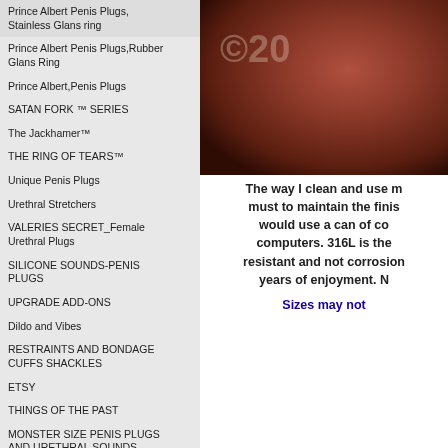Prince Albert Penis Plugs, Stainless Glans ring
Prince Albert Penis Plugs,Rubber Glans Ring
Prince Albert,Penis Plugs
SATAN FORK ™ SERIES
The Jackhamer™
THE RING OF TEARS™
Unique Penis Plugs
Urethral Stretchers
VALERIES SECRET_Female Urethral Plugs
SILICONE SOUNDS-PENIS PLUGS
UPGRADE ADD-ONS
Dildo and Vibes
RESTRAINTS AND BONDAGE CUFFS SHACKLES
ETSY
THINGS OF THE PAST
MONSTER SIZE PENIS PLUGS AND URETHRAL SOUNDS
[Figure (photo): Close-up photo of a brownish-red metallic or leather object with a watermark showing ©20...]
The way I clean and use m must to maintain the finis would use a can of co computers. 316L is the resistant and not corrosion years of enjoyment. N
Sizes may not